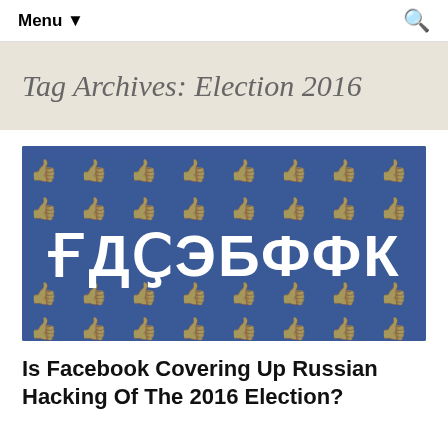Menu ▼  🔍
Tag Archives: Election 2016
[Figure (illustration): Blue Facebook-styled banner with repeating thumbs-up icons pattern in background and Cyrillic-like characters 'ҒДҪЭБФФК' in large white bold text in the center.]
Is Facebook Covering Up Russian Hacking Of The 2016 Election?